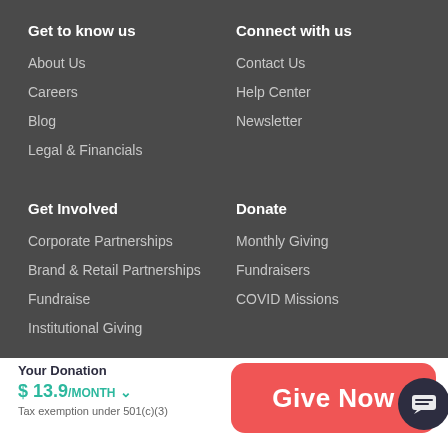Get to know us
About Us
Careers
Blog
Legal & Financials
Connect with us
Contact Us
Help Center
Newsletter
Get Involved
Corporate Partnerships
Brand & Retail Partnerships
Fundraise
Institutional Giving
Donate
Monthly Giving
Fundraisers
COVID Missions
Your Donation
$ 13.9/MONTH
Tax exemption under 501(c)(3)
Give Now